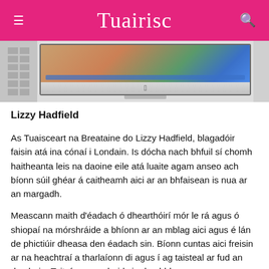Tuairisc
[Figure (photo): Screenshot of a website on an iMac monitor, partially visible with a side panel on the left]
Lizzy Hadfield
As Tuaisceart na Breataine do Lizzy Hadfield, blagadóir faisin atá ina cónaí i Londain. Is dócha nach bhfuil sí chomh haitheanta leis na daoine eile atá luaite agam anseo ach bíonn súil ghéar á caitheamh aici ar an bhfaisean is nua ar an margadh.
Meascann maith d'éadach ó dhearthóirí mór le rá agus ó shiopaí na mórshráide a bhíonn ar an mblag aici agus é lán de phictiúir dheasa den éadach sin. Bíonn cuntas aici freisin ar na heachtraí a tharlaíonn di agus í ag taisteal ar fud an domhain. Taitníonn an chuid sin den bhlag ar a